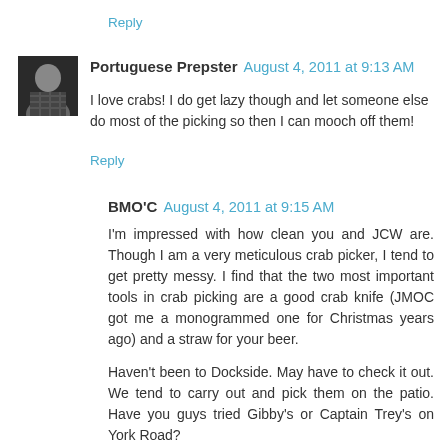Reply
Portuguese Prepster  August 4, 2011 at 9:13 AM
I love crabs! I do get lazy though and let someone else do most of the picking so then I can mooch off them!
Reply
BMO'C  August 4, 2011 at 9:15 AM
I'm impressed with how clean you and JCW are. Though I am a very meticulous crab picker, I tend to get pretty messy. I find that the two most important tools in crab picking are a good crab knife (JMOC got me a monogrammed one for Christmas years ago) and a straw for your beer.
Haven't been to Dockside. May have to check it out. We tend to carry out and pick them on the patio. Have you guys tried Gibby's or Captain Trey's on York Road?